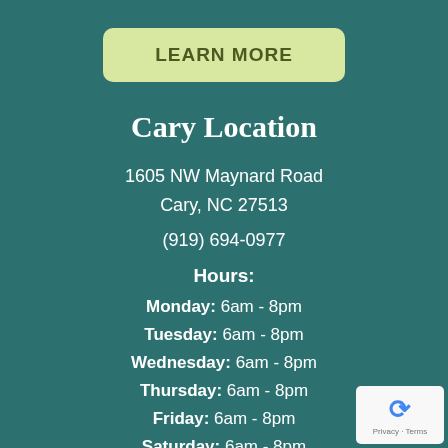[Figure (other): LEARN MORE button with light yellow-green background and rounded corners]
Cary Location
1605 NW Maynard Road
Cary, NC 27513
(919) 694-0977
Hours:
Monday: 6am - 8pm
Tuesday: 6am - 8pm
Wednesday: 6am - 8pm
Thursday: 6am - 8pm
Friday: 6am - 8pm
Saturday: 6am - 8pm